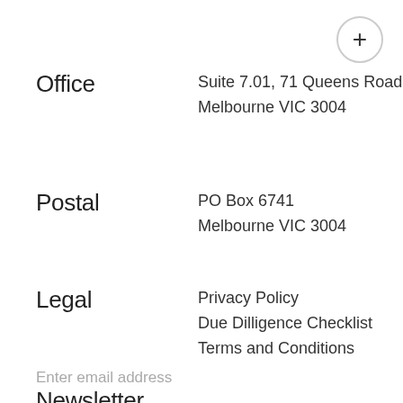[Figure (other): Circle button with plus (+) symbol in the top right corner]
Office
Suite 7.01, 71 Queens Road
Melbourne VIC 3004
Postal
PO Box 6741
Melbourne VIC 3004
Legal
Privacy Policy
Due Dilligence Checklist
Terms and Conditions
Newsletter
Enter email address